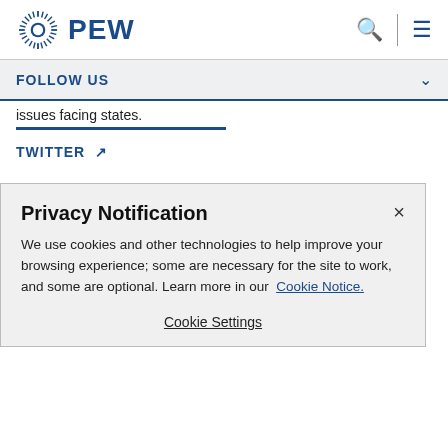PEW
FOLLOW US
issues facing states.
TWITTER ↗
Pew Health
Health news, research & policy recommendations from The
Privacy Notification
We use cookies and other technologies to help improve your browsing experience; some are necessary for the site to work, and some are optional. Learn more in our Cookie Notice.
Cookie Settings